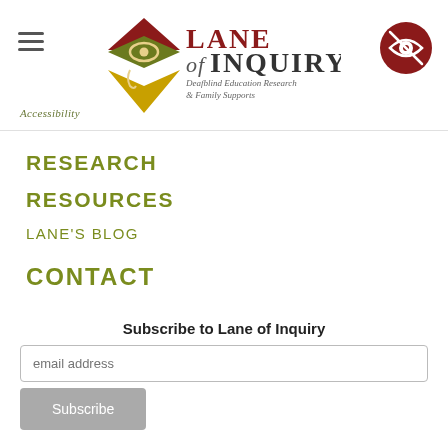[Figure (logo): Lane of Inquiry logo with geometric arrow/eye shapes in dark red, olive green, and gold, with text 'LANE of INQUIRY' and subtitle 'Deafblind Education Research & Family Supports']
Accessibility
RESEARCH
RESOURCES
LANE'S BLOG
CONTACT
Subscribe to Lane of Inquiry
email address
Subscribe